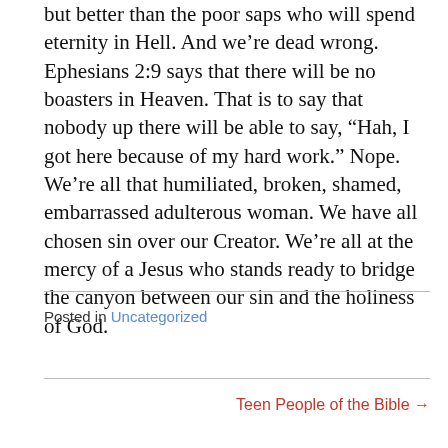but better than the poor saps who will spend eternity in Hell. And we’re dead wrong. Ephesians 2:9 says that there will be no boasters in Heaven. That is to say that nobody up there will be able to say, “Hah, I got here because of my hard work.” Nope. We’re all that humiliated, broken, shamed, embarrassed adulterous woman. We have all chosen sin over our Creator. We’re all at the mercy of a Jesus who stands ready to bridge the canyon between our sin and the holiness of God.
Posted in Uncategorized
Teen People of the Bible →